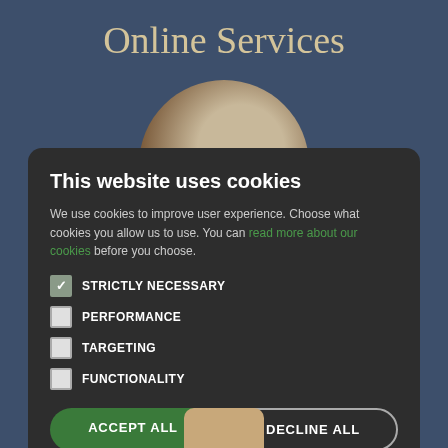Online Services
[Figure (screenshot): Cookie consent modal dialog on a dark blue background with decorative circle and hand illustration]
This website uses cookies
We use cookies to improve user experience. Choose what cookies you allow us to use. You can read more about our cookies before you choose.
STRICTLY NECESSARY (checked)
PERFORMANCE
TARGETING
FUNCTIONALITY